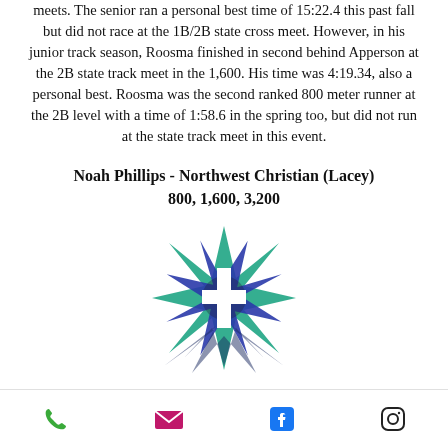meets. The senior ran a personal best time of 15:22.4 this past fall but did not race at the 1B/2B state cross meet. However, in his junior track season, Roosma finished in second behind Apperson at the 2B state track meet in the 1,600. His time was 4:19.34, also a personal best. Roosma was the second ranked 800 meter runner at the 2B level with a time of 1:58.6 in the spring too, but did not run at the state track meet in this event.
Noah Phillips - Northwest Christian (Lacey)
800, 1,600, 3,200
[Figure (logo): Northwest Christian School star/cross logo in blue and teal/green colors]
Phone | Email | Facebook | Instagram icons